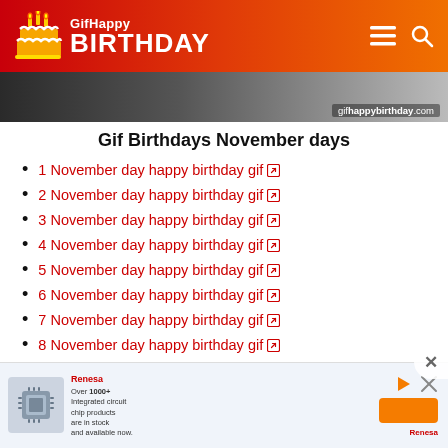GifHappy BIRTHDAY — gifhappybirthday.com
Gif Birthdays November days
1 November day happy birthday gif ↗
2 November day happy birthday gif ↗
3 November day happy birthday gif ↗
4 November day happy birthday gif ↗
5 November day happy birthday gif ↗
6 November day happy birthday gif ↗
7 November day happy birthday gif ↗
8 November day happy birthday gif ↗
[Figure (screenshot): Advertisement banner for Renesas chip products]